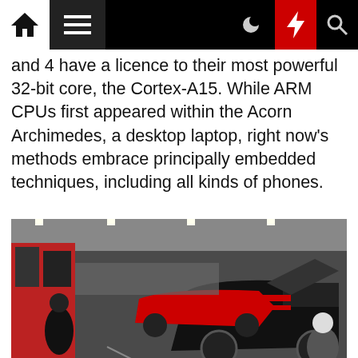Navigation bar with home, menu, moon, bolt, and search icons
and 4 have a licence to their most powerful 32-bit core, the Cortex-A15. While ARM CPUs first appeared within the Acorn Archimedes, a desktop laptop, right now's methods embrace principally embedded techniques, including all kinds of phones.
[Figure (photo): A NASCAR garage scene showing race cars with hoods open and crew members working on them in a pit garage area.]
The Joseph J. Sanchez Memorial Fund donates $7,000 yearly to college students at 4 educational establishments, and the Survivors Relief Fund has contributed round $800,000 in scholarships to